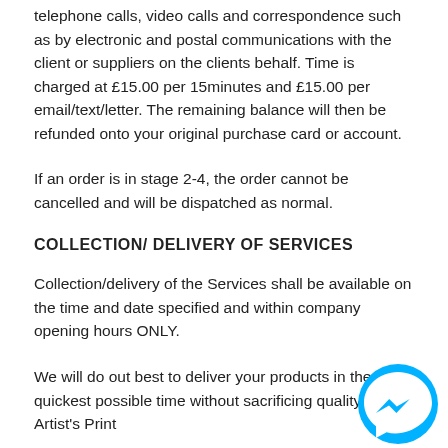telephone calls, video calls and correspondence such as by electronic and postal communications with the client or suppliers on the clients behalf. Time is charged at £15.00 per 15minutes and £15.00 per email/text/letter. The remaining balance will then be refunded onto your original purchase card or account.
If an order is in stage 2-4, the order cannot be cancelled and will be dispatched as normal.
COLLECTION/ DELIVERY OF SERVICES
Collection/delivery of the Services shall be available on the time and date specified and within company opening hours ONLY.
We will do out best to deliver your products in the quickest possible time without sacrificing quality. The Artist's Print